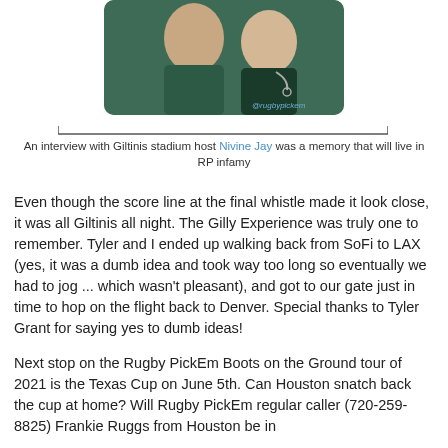[Figure (photo): Photo of people in a green setting with @rugbypickem watermark, shown inside a rounded green card with bracket lines below]
An interview with Giltinis stadium host Nivine Jay was a memory that will live in RP infamy
Even though the score line at the final whistle made it look close, it was all Giltinis all night. The Gilly Experience was truly one to remember. Tyler and I ended up walking back from SoFi to LAX (yes, it was a dumb idea and took way too long so eventually we had to jog ... which wasn't pleasant), and got to our gate just in time to hop on the flight back to Denver. Special thanks to Tyler Grant for saying yes to dumb ideas!
Next stop on the Rugby PickEm Boots on the Ground tour of 2021 is the Texas Cup on June 5th. Can Houston snatch back the cup at home? Will Rugby PickEm regular caller (720-259-8825) Frankie Ruggs from Houston be in